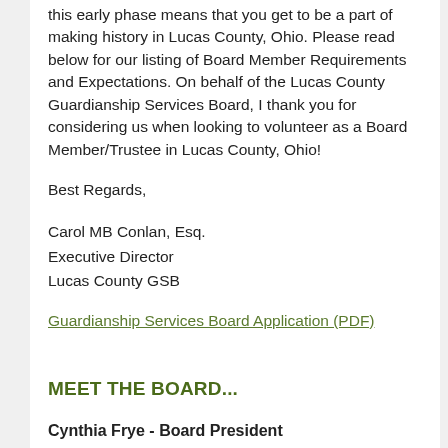this early phase means that you get to be a part of making history in Lucas County, Ohio. Please read below for our listing of Board Member Requirements and Expectations. On behalf of the Lucas County Guardianship Services Board, I thank you for considering us when looking to volunteer as a Board Member/Trustee in Lucas County, Ohio!
Best Regards,
Carol MB Conlan, Esq.
Executive Director
Lucas County GSB
Guardianship Services Board Application (PDF)
MEET THE BOARD...
Cynthia Frye - Board President
Tim Goyer - Board Treasurer